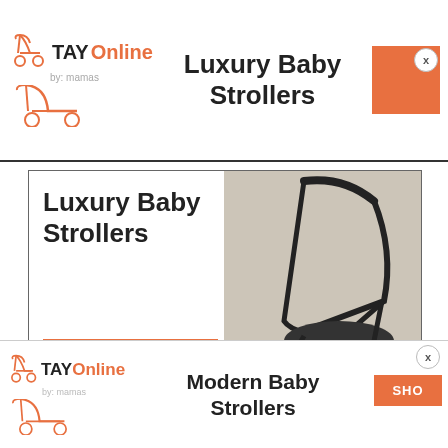[Figure (infographic): TAY Online by mamas logo with orange stroller icon, top advertisement banner for Luxury Baby Strollers with close X button]
Luxury Baby Strollers
[Figure (infographic): Advertisement box for Luxury Baby Strollers with SHOP NOW button and photo of stroller wheels]
“The biggest flex ever is the fact is he has a real gold medal on,” one commenter wrote. “Look at the way his knees are so flexible he’s gonna be insane at underwater, Ry,” another
[Figure (infographic): TAY Online by mamas logo with orange stroller icon, bottom advertisement banner for Modern Baby Strollers with SHOP button partially visible]